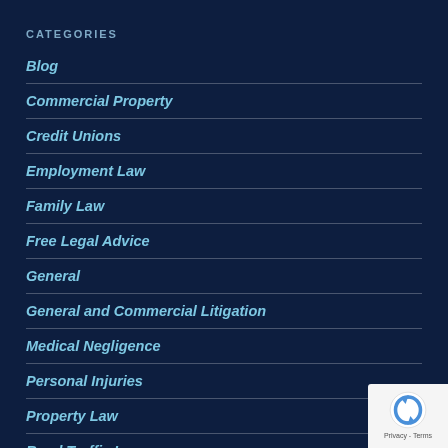CATEGORIES
Blog
Commercial Property
Credit Unions
Employment Law
Family Law
Free Legal Advice
General
General and Commercial Litigation
Medical Negligence
Personal Injuries
Property Law
Road Traffic Law
Social Media and Defamation
Tax Law and Advice
Testimonials